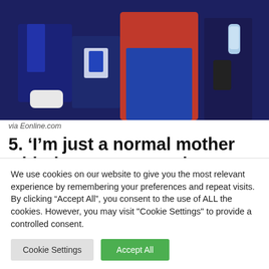[Figure (photo): People sitting, one wearing a blue jacket with white sneakers, another in a red shirt and jeans, partial view of people at an event]
via Eonline.com
5. ‘I’m just a normal mother with the same struggles as any other mother who’s trying to do everything at once and trying to be a wife and maintain a relationship. There’s
We use cookies on our website to give you the most relevant experience by remembering your preferences and repeat visits. By clicking “Accept All”, you consent to the use of ALL the cookies. However, you may visit "Cookie Settings" to provide a controlled consent.